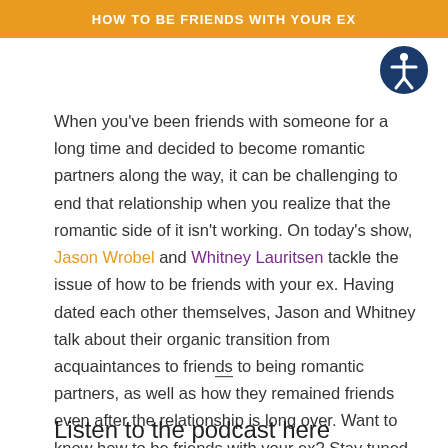HOW TO BE FRIENDS WITH YOUR EX
When you've been friends with someone for a long time and decided to become romantic partners along the way, it can be challenging to end that relationship when you realize that the romantic side of it isn't working. On today's show, Jason Wrobel and Whitney Lauritsen tackle the issue of how to be friends with your ex. Having dated each other themselves, Jason and Whitney talk about their organic transition from acquaintances to friends to being romantic partners, as well as how they remained friends even after the relationship is long over. Want to know how to be friends with your ex? Stay tuned to this episode.
Listen to the podcast here